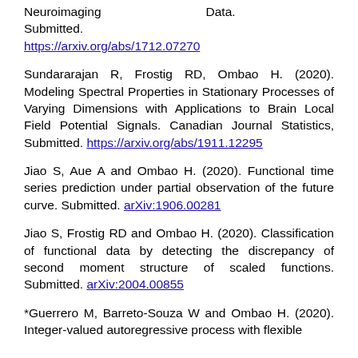Neuroimaging Data. Submitted. https://arxiv.org/abs/1712.07270
Sundararajan R, Frostig RD, Ombao H. (2020). Modeling Spectral Properties in Stationary Processes of Varying Dimensions with Applications to Brain Local Field Potential Signals. Canadian Journal Statistics, Submitted. https://arxiv.org/abs/1911.12295
Jiao S, Aue A and Ombao H. (2020). Functional time series prediction under partial observation of the future curve. Submitted. arXiv:1906.00281
Jiao S, Frostig RD and Ombao H. (2020). Classification of functional data by detecting the discrepancy of second moment structure of scaled functions. Submitted. arXiv:2004.00855
*Guerrero M, Barreto-Souza W and Ombao H. (2020). Integer-valued autoregressive process with flexible